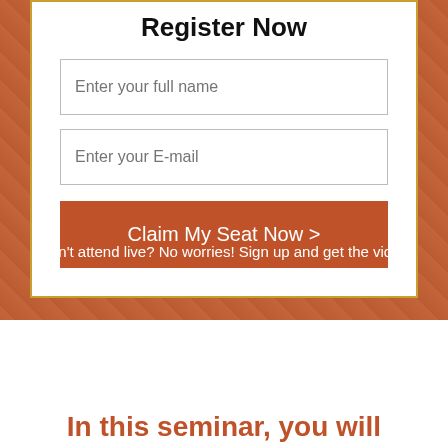Register Now
Enter your full name
Enter your E-mail
Claim My Seat Now >
Can't attend live? No worries! Sign up and get the video replay via email.
In this seminar, you will